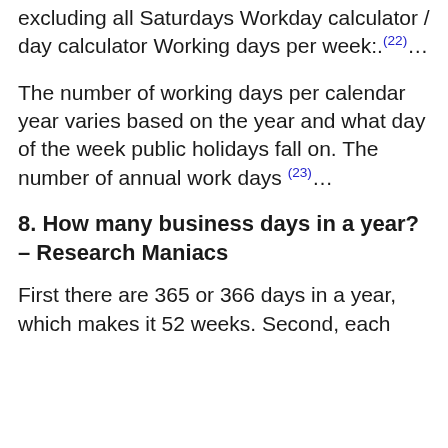excluding all Saturdays Workday calculator / day calculator Working days per week:.(22)...
The number of working days per calendar year varies based on the year and what day of the week public holidays fall on. The number of annual work days (23)...
8. How many business days in a year? – Research Maniacs
First there are 365 or 366 days in a year, which makes it 52 weeks. Second, each